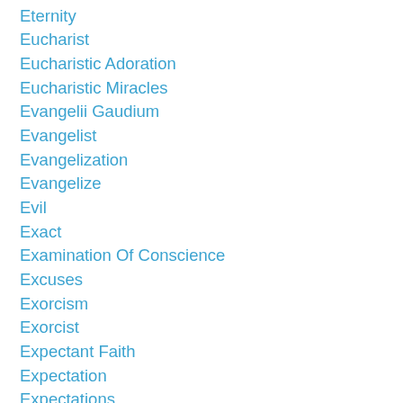Eternity
Eucharist
Eucharistic Adoration
Eucharistic Miracles
Evangelii Gaudium
Evangelist
Evangelization
Evangelize
Evil
Exact
Examination Of Conscience
Excuses
Exorcism
Exorcist
Expectant Faith
Expectation
Expectations
Extradordinary
Extraordinary
Extravagant Love
Eye